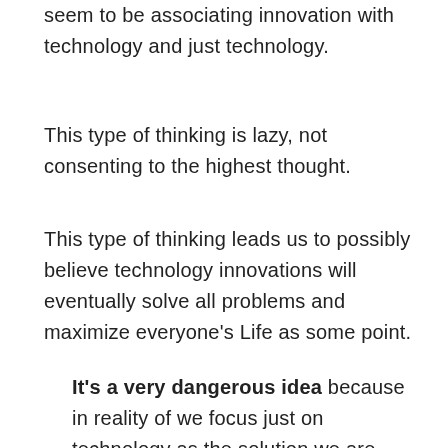seem to be associating innovation with technology and just technology.
This type of thinking is lazy, not consenting to the highest thought.
This type of thinking leads us to possibly believe technology innovations will eventually solve all problems and maximize everyone's Life as some point.
It's a very dangerous idea because in reality of we focus just on technology as the solution we are actually